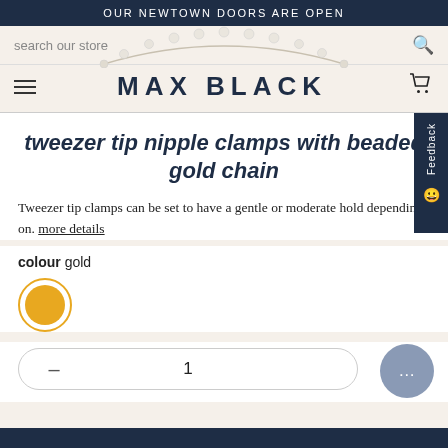OUR NEWTOWN DOORS ARE OPEN
search our store
MAX BLACK
tweezer tip nipple clamps with beaded gold chain
Tweezer tip clamps can be set to have a gentle or moderate hold depending on. more details
colour gold
[Figure (illustration): Gold color swatch circle with orange/gold fill and ring border]
1